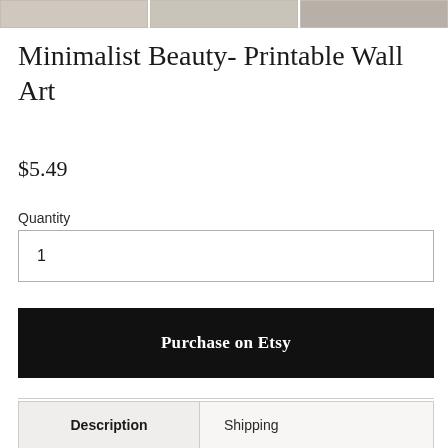[Figure (photo): Three small product thumbnail images of printable wall art at the top of the page, cropped]
Minimalist Beauty- Printable Wall Art
$5.49
Quantity
1
Purchase on Etsy
| Description | Shipping |
| --- | --- |